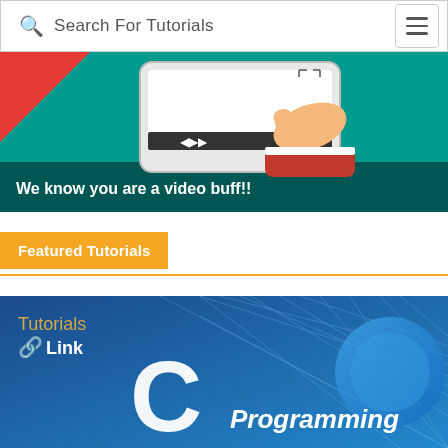Search For Tutorials
[Figure (illustration): Promotional banner showing a hand pointing at a media player tablet on a teal/red background with text 'We know you are a video buff!!']
Featured Tutorials
[Figure (illustration): Tutorials Link logo with C Programming tutorial card on blue background with network mesh graphic]